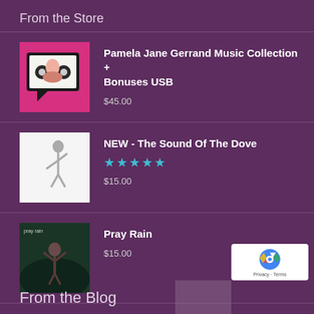From the Store
Pamela Jane Gerrand Music Collection + Bonuses USB
$45.00
NEW - The Sound Of The Dove
★★★★★
$15.00
Pray Rain
$15.00
From the Blog